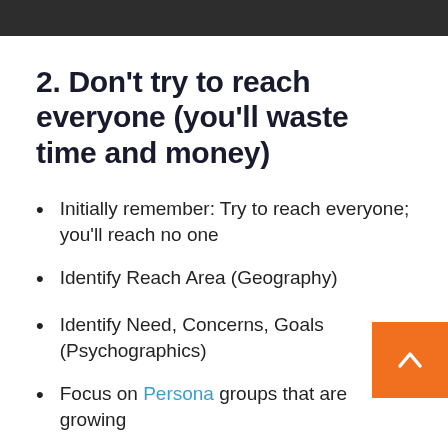2. Don't try to reach everyone (you'll waste time and money)
Initially remember: Try to reach everyone; you'll reach no one
Identify Reach Area (Geography)
Identify Need, Concerns, Goals (Psychographics)
Focus on Persona groups that are growing
Compare the community's personas to